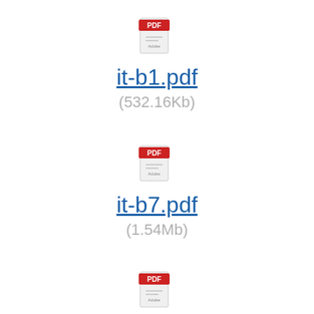[Figure (other): PDF file icon for it-b1.pdf]
it-b1.pdf
(532.16Kb)
[Figure (other): PDF file icon for it-b7.pdf]
it-b7.pdf
(1.54Mb)
[Figure (other): PDF file icon for spp-111.pdf]
spp-111.pdf
(3.4Mb)